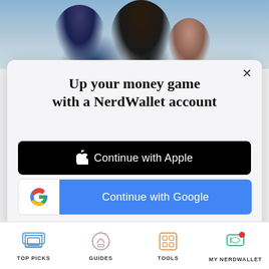[Figure (photo): Photo of a family (man, woman, and child) in a medical/home setting, partially visible at top]
Up your money game with a NerdWallet account
Continue with Apple
Continue with Google
or continue with email
By signing up, I agree to NerdWallet's Terms of Service and Privacy Policy.
TOP PICKS   GUIDES   TOOLS   MY NERDWALLET